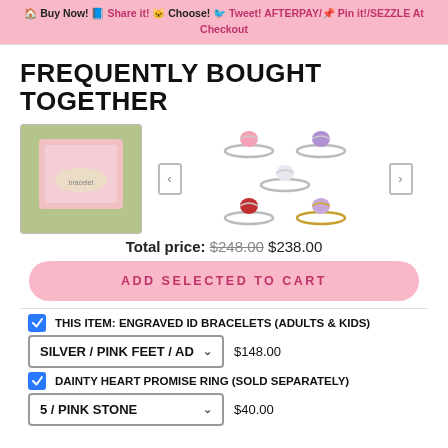Buy Now! Share it! Choose! Tweet! AFTERPAY/SEZZLE At Checkout
FREQUENTLY BOUGHT TOGETHER
[Figure (photo): Photo of an engraved ID bracelet in a pink gift box on grass background, and a carousel of 5 gemstone promise rings in various colors (pink, purple, clear, red, lavender/gold)]
Total price: $248.00 $238.00
ADD SELECTED TO CART
THIS ITEM: ENGRAVED ID BRACELETS (ADULTS & KIDS)
SILVER / PINK FEET / AD ▾  $148.00
DAINTY HEART PROMISE RING (SOLD SEPARATELY)
5 / PINK STONE ▾  $40.00